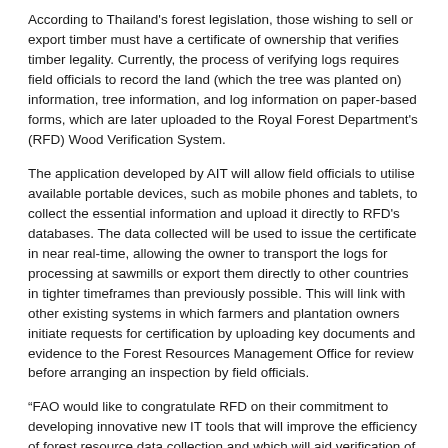According to Thailand's forest legislation, those wishing to sell or export timber must have a certificate of ownership that verifies timber legality. Currently, the process of verifying logs requires field officials to record the land (which the tree was planted on) information, tree information, and log information on paper-based forms, which are later uploaded to the Royal Forest Department's (RFD) Wood Verification System.
The application developed by AIT will allow field officials to utilise available portable devices, such as mobile phones and tablets, to collect the essential information and upload it directly to RFD's databases. The data collected will be used to issue the certificate in near real-time, allowing the owner to transport the logs for processing at sawmills or export them directly to other countries in tighter timeframes than previously possible. This will link with other existing systems in which farmers and plantation owners initiate requests for certification by uploading key documents and evidence to the Forest Resources Management Office for review before arranging an inspection by field officials.
“FAO would like to congratulate RFD on their commitment to developing innovative new IT tools that will improve the efficiency of forest resource data collection and which will aid verification of the legality of timber produced in Thailand,” said Erica Pohnan of the FAO-EU FLEGT Programme. “We also hope that the partnership along both AIT and the to content will help further...